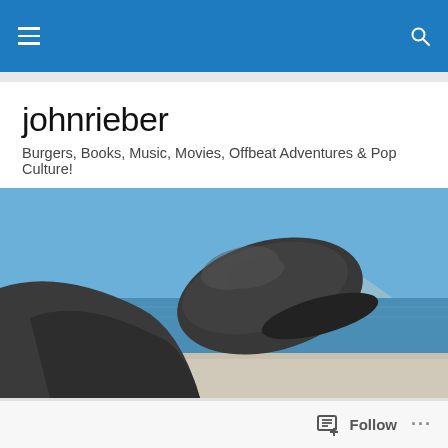johnrieber — site navigation bar with hamburger menu and search icon
johnrieber
Burgers, Books, Music, Movies, Offbeat Adventures & Pop Culture!
[Figure (photo): Close-up of a metallic sculpture leg and shoe resting, with a coastal ocean scene in the background including a boat and distant mountains under blue sky.]
TAGGED WITH EROTIC FILMS
Follow